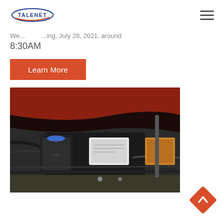TALENET (logo) | hamburger menu
We... ...ing, July 28, 2021, around 8:30AM
Learn More
[Figure (photo): Engine compartment photo showing red hood open, revealing engine block, ECU module, alternator, cables and various engine components]
[Figure (other): Back to top button — orange diamond shape with upward chevron]